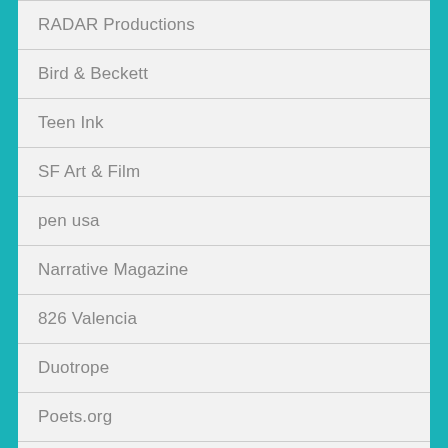RADAR Productions
Bird & Beckett
Teen Ink
SF Art & Film
pen usa
Narrative Magazine
826 Valencia
Duotrope
Poets.org